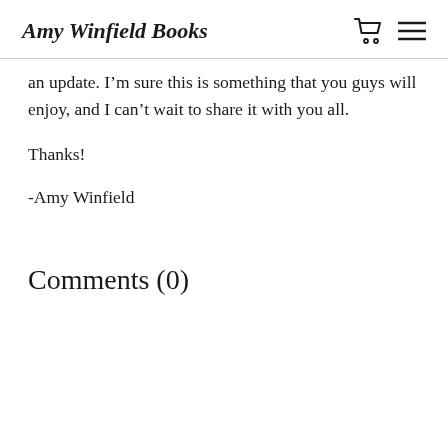Amy Winfield Books
an update. I’m sure this is something that you guys will enjoy, and I can’t wait to share it with you all.
Thanks!
-Amy Winfield
Comments (0)